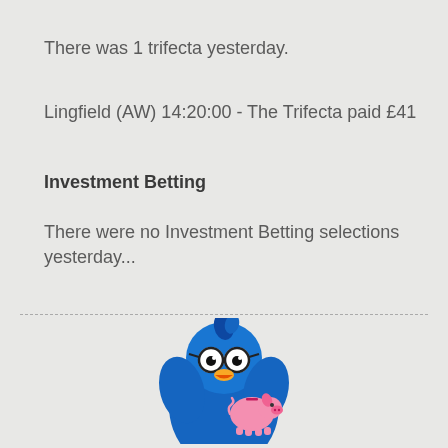There was 1 trifecta yesterday.
Lingfield (AW) 14:20:00 - The Trifecta paid £41
Investment Betting
There were no Investment Betting selections yesterday...
[Figure (illustration): Blue cartoon bird mascot wearing black glasses and holding a pink piggy bank]